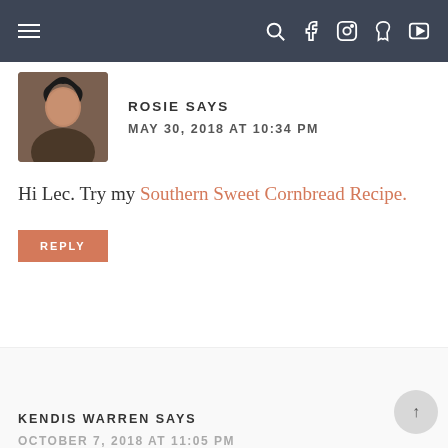navigation bar with menu and social icons
ROSIE SAYS
MAY 30, 2018 AT 10:34 PM
Hi Lec. Try my Southern Sweet Cornbread Recipe.
REPLY
KENDIS WARREN SAYS
OCTOBER 7, 2018 AT 11:05 PM